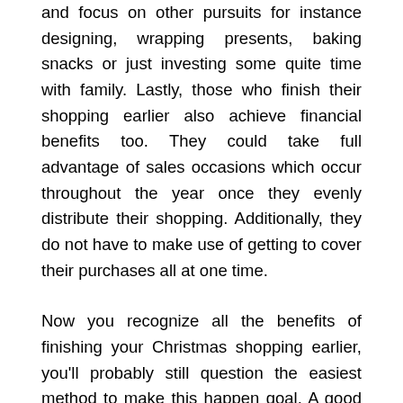and focus on other pursuits for instance designing, wrapping presents, baking snacks or just investing some quite time with family. Lastly, those who finish their shopping earlier also achieve financial benefits too. They could take full advantage of sales occasions which occur throughout the year once they evenly distribute their shopping. Additionally, they do not have to make use of getting to cover their purchases all at one time.
Now you recognize all the benefits of finishing your Christmas shopping earlier, you'll probably still question the easiest method to make this happen goal. A good way to do that might be to consider Christmas shopping as an all year long event. When Christmas has ended, create all of the everyone you want to buy gifts for next Christmas. You may even write lower a few presents for those these folks too. Developing a listing at the moment gives you a whole year to spend time looking for gifts for everyone in your list. For